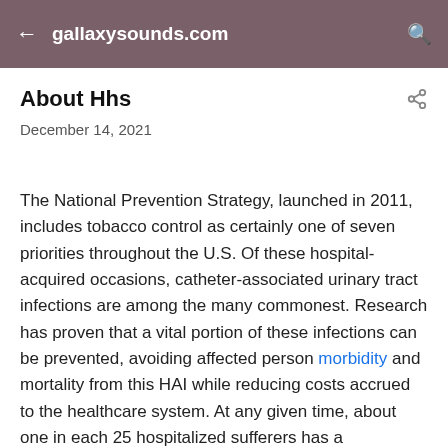gallaxysounds.com
About Hhs
December 14, 2021
The National Prevention Strategy, launched in 2011, includes tobacco control as certainly one of seven priorities throughout the U.S. Of these hospital-acquired occasions, catheter-associated urinary tract infections are among the many commonest. Research has proven that a vital portion of these infections can be prevented, avoiding affected person morbidity and mortality from this HAI while reducing costs accrued to the healthcare system. At any given time, about one in each 25 hospitalized sufferers has a healthcare-associated an infection while over 1 million HAIs occur